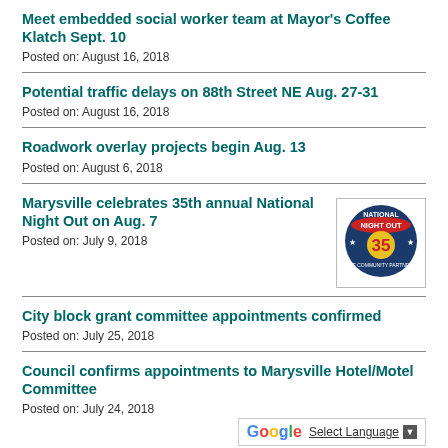Meet embedded social worker team at Mayor's Coffee Klatch Sept. 10
Posted on: August 16, 2018
Potential traffic delays on 88th Street NE Aug. 27-31
Posted on: August 16, 2018
Roadwork overlay projects begin Aug. 13
Posted on: August 6, 2018
Marysville celebrates 35th annual National Night Out on Aug. 7
Posted on: July 9, 2018
[Figure (logo): National Night Out 35th anniversary logo]
City block grant committee appointments confirmed
Posted on: July 25, 2018
Council confirms appointments to Marysville Hotel/Motel Committee
Posted on: July 24, 2018